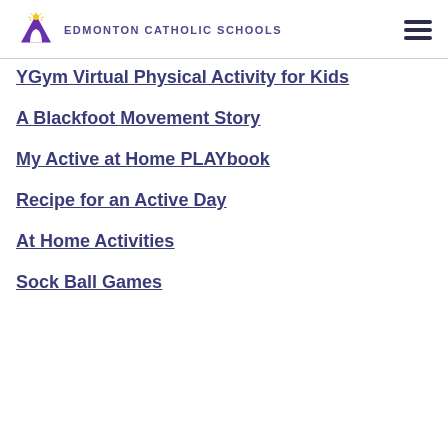Edmonton Catholic Schools
YGym Virtual Physical Activity for Kids
A Blackfoot Movement Story
My Active at Home PLAYbook
Recipe for an Active Day
At Home Activities
Sock Ball Games